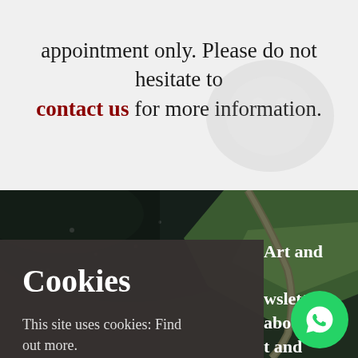appointment only. Please do not hesitate to contact us for more information.
[Figure (photo): Aerial photograph of landscape with winding road and dark water body, seen from above]
Cookies
This site uses cookies: Find out more.
Close notice
Art and newsletter about t and views n our